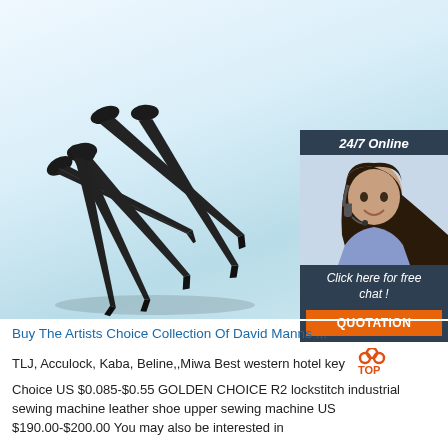[Figure (photo): Product photo of several dark black/steel masonry nails arranged on a light blue-white background, with a 24/7 online customer service chat widget overlay on the right side showing a smiling woman wearing a headset, with 'Click here for free chat!' text and an orange QUOTATION button]
Buy The Artists Choice Collection Of David Manns ...
TLJ, Acculock, Kaba, Beline,,Miwa Best western hotel key TOP Choice US $0.085-$0.55 GOLDEN CHOICE R2 lockstitch industrial sewing machine leather shoe upper sewing machine US $190.00-$200.00 You may also be interested in